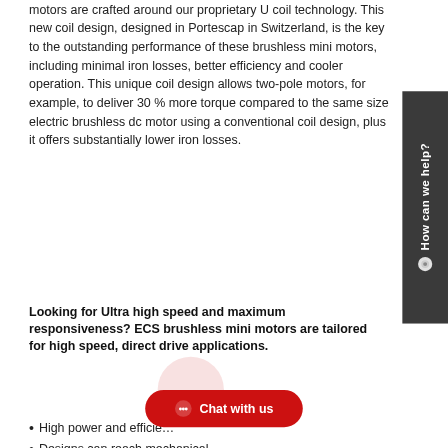motors are crafted around our proprietary U coil technology. This new coil design, designed in Portescap in Switzerland, is the key to the outstanding performance of these brushless mini motors, including minimal iron losses, better efficiency and cooler operation. This unique coil design allows two-pole motors, for example, to deliver 30 % more torque compared to the same size electric brushless dc motor using a conventional coil design, plus it offers substantially lower iron losses.
Looking for Ultra high speed and maximum responsiveness? ECS brushless mini motors are tailored for high speed, direct drive applications.
High power and efficie…
Designs can reach mechanical powers such as…